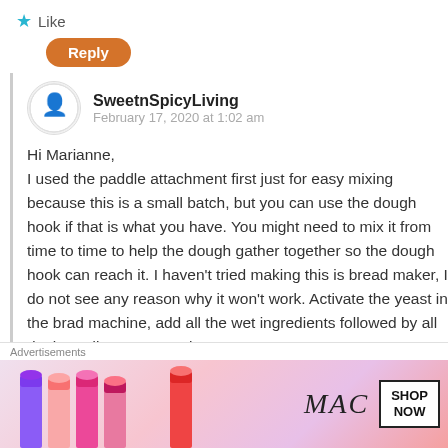★ Like
Reply
SweetnSpicyLiving
February 17, 2020 at 1:02 am
Hi Marianne,
I used the paddle attachment first just for easy mixing because this is a small batch, but you can use the dough hook if that is what you have. You might need to mix it from time to time to help the dough gather together so the dough hook can reach it. I haven't tried making this is bread maker, I do not see any reason why it won't work. Activate the yeast in the brad machine, add all the wet ingredients followed by all dry ingredients. Let me know
Advertisements
[Figure (photo): MAC cosmetics advertisement showing lipsticks with MAC logo and SHOP NOW button]